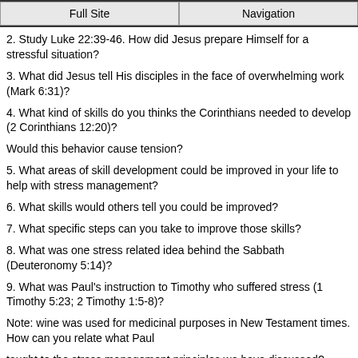Full Site | Navigation
2. Study Luke 22:39-46. How did Jesus prepare Himself for a stressful situation?
3. What did Jesus tell His disciples in the face of overwhelming work (Mark 6:31)?
4. What kind of skills do you thinks the Corinthians needed to develop (2 Corinthians 12:20)?
Would this behavior cause tension?
5. What areas of skill development could be improved in your life to help with stress management?
6. What skills would others tell you could be improved?
7. What specific steps can you take to improve those skills?
8. What was one stress related idea behind the Sabbath (Deuteronomy 5:14)?
9. What was Paul's instruction to Timothy who suffered stress (1 Timothy 5:23; 2 Timothy 1:5-8)?
Note: wine was used for medicinal purposes in New Testament times. How can you relate what Paul
taught to the stress management principles we have discussed?